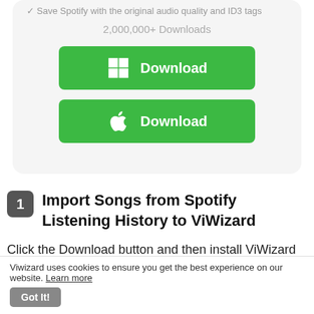Save Spotify with the original audio quality and ID3 tags
2,000,000+ Downloads
[Figure (screenshot): Green Download button with Windows logo icon]
[Figure (screenshot): Green Download button with Apple logo icon]
1  Import Songs from Spotify Listening History to ViWizard
Click the Download button and then install ViWizard Music Converter on your computer. Open ViWizard Music
Viwizard uses cookies to ensure you get the best experience on our website. Learn more Got It!